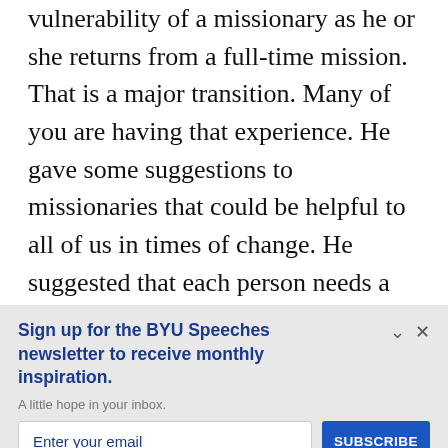vulnerability of a missionary as he or she returns from a full-time mission. That is a major transition. Many of you are having that experience. He gave some suggestions to missionaries that could be helpful to all of us in times of change. He suggested that each person needs a board of directors. You need people you trust to whom you can turn for
Sign up for the BYU Speeches newsletter to receive monthly inspiration.
A little hope in your inbox.
Enter your email
SUBSCRIBE